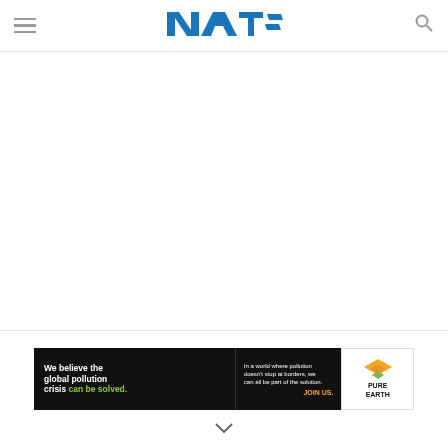MAT= [logo] | hamburger menu | search icon
[Figure (logo): NAT= style logo in blue with angular letters, center of header bar]
[Figure (infographic): Pure Earth advertisement banner: black background left section reading 'We believe the global pollution crisis can be solved.' with green 'can be solved.' text and yellow 'JOIN US.' text; right section shows Pure Earth diamond logo in gold/green and 'PURE EARTH' text in black on white]